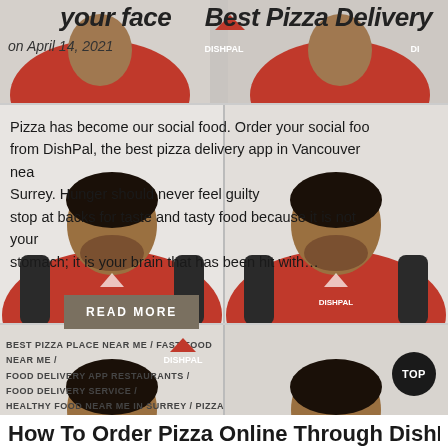[Figure (screenshot): Top banner showing partial title 'your face - Best Pizza Delivery' with date 'on April 14, 2021' overlaid on red hoodie DishPal video thumbnail]
Pizza has become our social food. Order your social food from DishPal, the best pizza delivery app in Vancouver near Surrey. Hunger should never feel guilty stop at backs for taste and tasty food because it is not your stomach; it is your brain that has been hit with...
READ MORE
[Figure (screenshot): Bottom left video thumbnail of man in red DishPal hoodie sitting in chair]
[Figure (screenshot): Bottom right video thumbnail of man in red DishPal hoodie sitting in chair]
BEST PIZZA PLACE NEAR ME / FAST FOOD NEAR ME / FOOD DELIVERY APP RESTAURANTS / FOOD DELIVERY SERVICE / HEALTHY FOOD NEAR ME IN SURREY / PIZZA DELIVERY
How To Order Pizza Online Through DishPal Surrey A S...